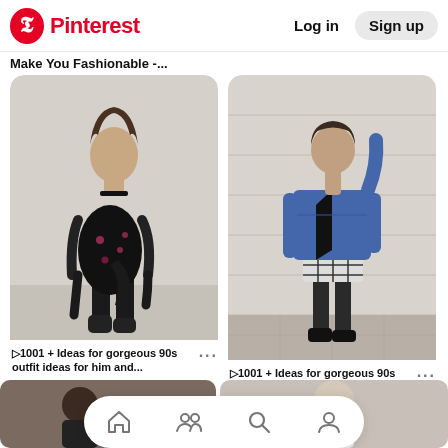Pinterest  Log in  Sign up
Make You Fashionable -...
[Figure (photo): Woman in black floral mini dress with mesh sleeves, choker, and black ankle boots holding a leather jacket]
>1001 + Ideas for gorgeous 90s outfit ideas for him and...
[Figure (photo): Woman in denim jacket, black top, plaid skirt, black tights and platform shoes leaning against a stone wall]
>1001 + Ideas for gorgeous 90s outfit ideas for him and...
[Figure (photo): Partial view of bottom row pin images showing 90s fashion outfits]